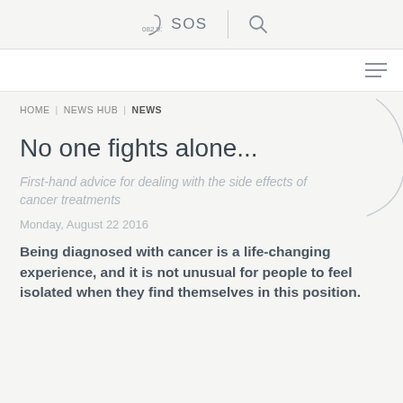📞 082 911  SOS  🔍
≡ (hamburger menu)
HOME | NEWS HUB | NEWS
No one fights alone...
First-hand advice for dealing with the side effects of cancer treatments
Monday, August 22 2016
Being diagnosed with cancer is a life-changing experience, and it is not unusual for people to feel isolated when they find themselves in this position.